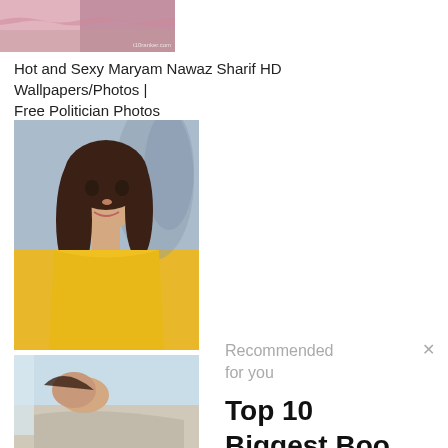[Figure (photo): Partial photo at top, cropped image with pink/purple tones, t10ranker.com watermark]
Hot and Sexy Maryam Nawaz Sharif HD Wallpapers/Photos | Free Politician Photos
[Figure (photo): Portrait photo of a young woman with long dark hair wearing a yellow dress, smiling at camera]
[Figure (photo): Photo of a woman reclining, light blue/grey background]
Recommended for you
Top 10 Biggest Boo...
www.t10ranker.com